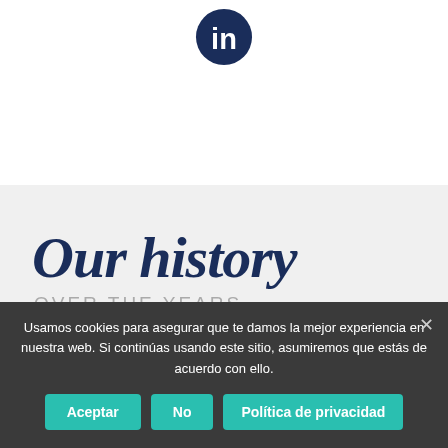[Figure (logo): LinkedIn logo icon — dark navy blue circle with white 'in' text]
Our history
OVER THE YEARS
2003
Usamos cookies para asegurar que te damos la mejor experiencia en nuestra web. Si continúas usando este sitio, asumiremos que estás de acuerdo con ello.
Aceptar
No
Política de privacidad